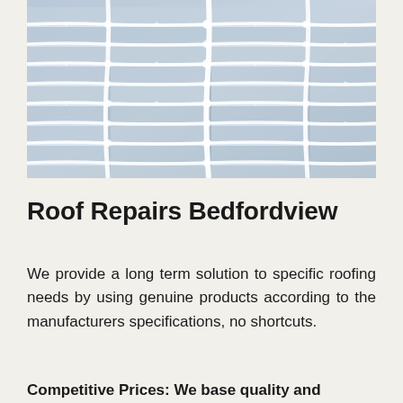[Figure (photo): Close-up photo of a metal roof surface showing corrugated grey/blue steel roofing sheets with white sealant or caulking applied along the ridges and seams in a grid-like pattern.]
Roof Repairs Bedfordview
We provide a long term solution to specific roofing needs by using genuine products according to the manufacturers specifications, no shortcuts.
Competitive Prices: We base quality and